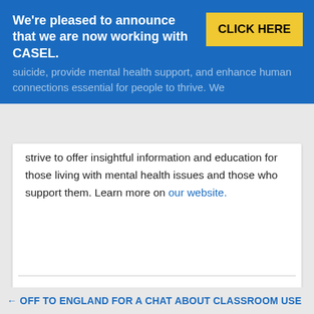We're pleased to announce that we are now working with CASEL.
[Figure (other): Yellow CLICK HERE button on blue banner]
suicide, provide mental health support, and enhance human connections essential for people to thrive. We strive to offer insightful information and education for those living with mental health issues and those who support them. Learn more on our website.
Please consider sharing this page with your network
← OFF TO ENGLAND FOR A CHAT ABOUT CLASSROOM USE